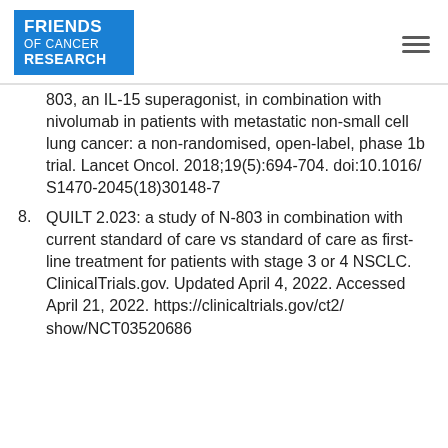Friends of Cancer Research
803, an IL-15 superagonist, in combination with nivolumab in patients with metastatic non-small cell lung cancer: a non-randomised, open-label, phase 1b trial. Lancet Oncol. 2018;19(5):694-704. doi:10.1016/ S1470-2045(18)30148-7
8. QUILT 2.023: a study of N-803 in combination with current standard of care vs standard of care as first-line treatment for patients with stage 3 or 4 NSCLC. ClinicalTrials.gov. Updated April 4, 2022. Accessed April 21, 2022. https://clinicaltrials.gov/ct2/show/NCT03520686